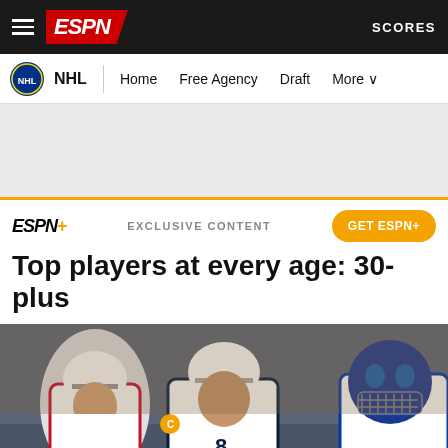ESPN — NHL | Home  Free Agency  Draft  More  SCORES
[Figure (screenshot): Ad placeholder area — gray background with gold bottom border]
ESPN+  EXCLUSIVE CONTENT  GET ESPN+
Top players at every age: 30-plus
[Figure (photo): Three NHL players: a Florida Panthers player in white jersey on left, Alex Ovechkin (#8, Washington Capitals) in center, and a New York Rangers goalie in decorated blue mask on right, during a hockey game]